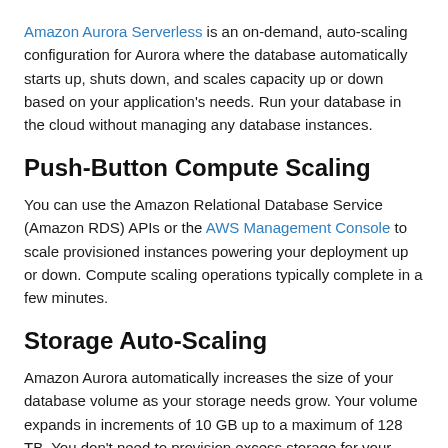Amazon Aurora Serverless is an on-demand, auto-scaling configuration for Aurora where the database automatically starts up, shuts down, and scales capacity up or down based on your application's needs. Run your database in the cloud without managing any database instances.
Push-Button Compute Scaling
You can use the Amazon Relational Database Service (Amazon RDS) APIs or the AWS Management Console to scale provisioned instances powering your deployment up or down. Compute scaling operations typically complete in a few minutes.
Storage Auto-Scaling
Amazon Aurora automatically increases the size of your database volume as your storage needs grow. Your volume expands in increments of 10 GB up to a maximum of 128 TB. You don't need to provision excess storage for your database to handle future